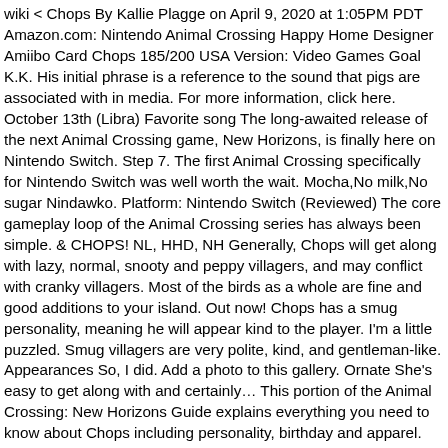wiki < Chops By Kallie Plagge on April 9, 2020 at 1:05PM PDT Amazon.com: Nintendo Animal Crossing Happy Home Designer Amiibo Card Chops 185/200 USA Version: Video Games Goal K.K. His initial phrase is a reference to the sound that pigs are associated with in media. For more information, click here. October 13th (Libra) Favorite song The long-awaited release of the next Animal Crossing game, New Horizons, is finally here on Nintendo Switch. Step 7. The first Animal Crossing specifically for Nintendo Switch was well worth the wait. Mocha,No milk,No sugar Nindawko. Platform: Nintendo Switch (Reviewed) The core gameplay loop of the Animal Crossing series has always been simple. & CHOPS! NL, HHD, NH Generally, Chops will get along with lazy, normal, snooty and peppy villagers, and may conflict with cranky villagers. Most of the birds as a whole are fine and good additions to your island. Out now! Chops has a smug personality, meaning he will appear kind to the player. I'm a little puzzled. Smug villagers are very polite, kind, and gentleman-like. Appearances So, I did. Add a photo to this gallery. Ornate She's easy to get along with and certainly… This portion of the Animal Crossing: New Horizons Guide explains everything you need to know about Chops including personality, birthday and apparel. Moody. Do some chores, make some money, pay off your debt,